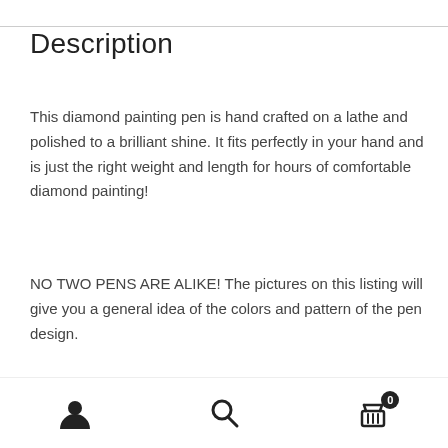Description
This diamond painting pen is hand crafted on a lathe and polished to a brilliant shine. It fits perfectly in your hand and is just the right weight and length for hours of comfortable diamond painting!
NO TWO PENS ARE ALIKE! The pictures on this listing will give you a general idea of the colors and pattern of the pen design.
All of our pens are roughly 4.25 inches from end to end without tips. While we aim for 13mm, the pen may be anywhere between 12-14mm thick in the smallest areas
user icon | search icon | cart icon (0)